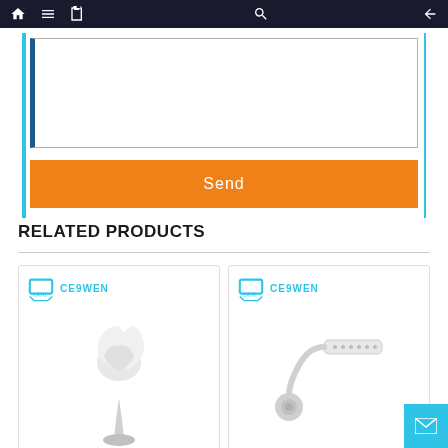Navigation bar with home, menu, book, search icons and back arrow
[Figure (screenshot): Text input/textarea with blue left border, part of a contact form]
Send
RELATED PRODUCTS
[Figure (photo): Product card left: Ceswen brand logo and image of a white tulip-shaped street lamp or decorative light]
[Figure (photo): Product card right: Ceswen brand logo and image of a white flexible LED desk lamp]